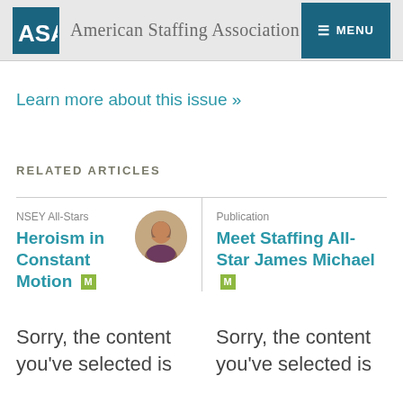American Staffing Association
Learn more about this issue »
RELATED ARTICLES
NSEY All-Stars
Heroism in Constant Motion M
[Figure (photo): Circular headshot of a smiling woman with dark hair]
Publication
Meet Staffing All-Star James Michael M
Sorry, the content you've selected is
Sorry, the content you've selected is